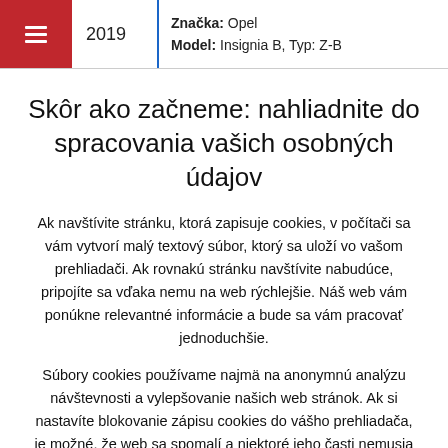2019 | Značka: Opel | Model: Insignia B, Typ: Z-B
Skôr ako začneme: nahliadnite do spracovania vašich osobných údajov
Ak navštívite stránku, ktorá zapisuje cookies, v počítači sa vám vytvorí malý textový súbor, ktorý sa uloží vo vašom prehliadači. Ak rovnakú stránku navštívite nabudúce, pripojíte sa vďaka nemu na web rýchlejšie. Náš web vám ponúkne relevantné informácie a bude sa vám pracovať jednoduchšie.
Súbory cookies používame najmä na anonymnú analýzu návštevnosti a vylepšovanie našich web stránok. Ak si nastavíte blokovanie zápisu cookies do vášho prehliadača, je možné, že web sa spomalí a niektoré jeho časti nemusia fungovať úplne korektne. Viac info k spracúvaniu cookies.